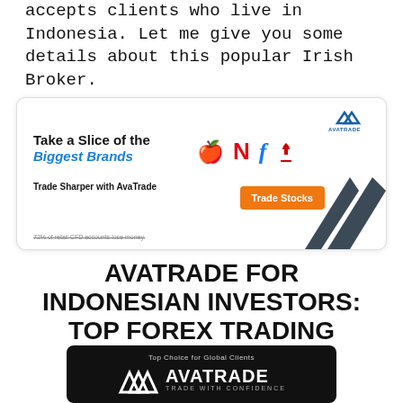accepts clients who live in Indonesia. Let me give you some details about this popular Irish Broker.
[Figure (screenshot): AvaTrade advertisement banner: 'Take a Slice of the Biggest Brands' with Apple, Netflix, Facebook, Tesla icons, dark chevron graphic, orange 'Trade Stocks' button, and AvaTrade logo. Tagline: 'Trade Sharper with AvaTrade'. Disclaimer: '72% of retail CFD accounts lose money.']
AVATRADE FOR INDONESIAN INVESTORS: TOP FOREX TRADING
[Figure (logo): AvaTrade logo on black rounded rectangle background with text 'Top Choice for Global Clients' above and 'AVATRADE TRADE WITH CONFIDENCE' text beside chevron mark]